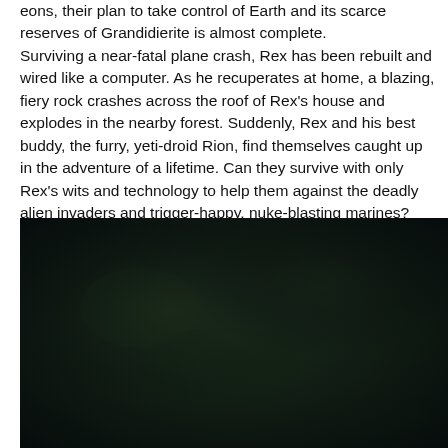eons, their plan to take control of Earth and its scarce reserves of Grandidierite is almost complete. Surviving a near-fatal plane crash, Rex has been rebuilt and wired like a computer. As he recuperates at home, a blazing, fiery rock crashes across the roof of Rex's house and explodes in the nearby forest. Suddenly, Rex and his best buddy, the furry, yeti-droid Rion, find themselves caught up in the adventure of a lifetime. Can they survive with only Rex's wits and technology to help them against the deadly alien invaders and trigger-happy, nuke-blasting marines?
[Figure (photo): Dark, moody image with very low light — appears to show a dark forest or night scene with subtle greenish/blue tones and textured shadows. Nearly entirely black with faint details.]